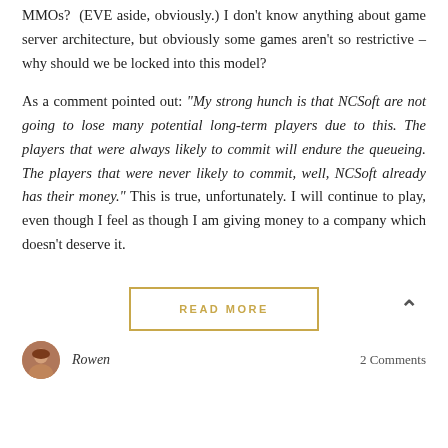MMOs? (EVE aside, obviously.) I don't know anything about game server architecture, but obviously some games aren't so restrictive – why should we be locked into this model?
As a comment pointed out: "My strong hunch is that NCSoft are not going to lose many potential long-term players due to this. The players that were always likely to commit will endure the queueing. The players that were never likely to commit, well, NCSoft already has their money." This is true, unfortunately. I will continue to play, even though I feel as though I am giving money to a company which doesn't deserve it.
READ MORE
Rowen
2 Comments